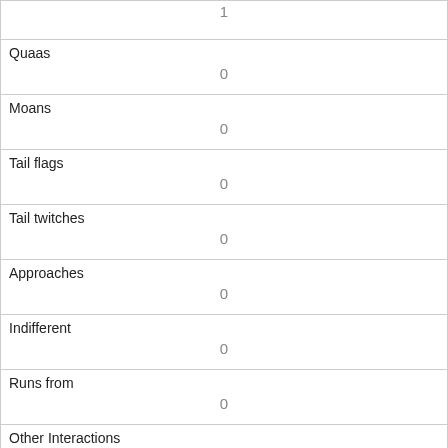| 1 |
| Quaas | 0 |
| Moans | 0 |
| Tail flags | 0 |
| Tail twitches | 0 |
| Approaches | 0 |
| Indifferent | 0 |
| Runs from | 0 |
| Other Interactions |  |
| Lat/Long | POINT (-73.9707215394887 40.7727508149058) |
| Link |  |